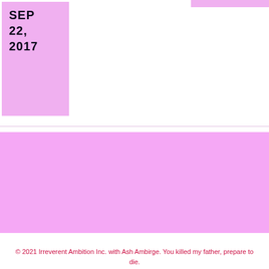SEP 22, 2017
HOME   ABOUT   BLOG   TERMS   PRIVACY   CONTACT
[Figure (infographic): Social media icons row: Amazon, Instagram, Twitter, Facebook, LinkedIn, Email]
© 2021 Irreverent Ambition Inc. with Ash Ambirge. You killed my father, prepare to die.